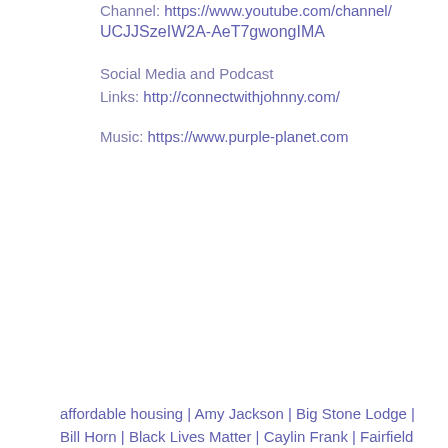Channel: https://www.youtube.com/channel/UCJJSzeIW2A-AeT7gwongIMA
Social Media and Podcast Links: http://connectwithjohnny.com/
Music: https://www.purple-planet.com
affordable housing | Amy Jackson | Big Stone Lodge | Bill Horn | Black Lives Matter | Caylin Frank | Fairfield